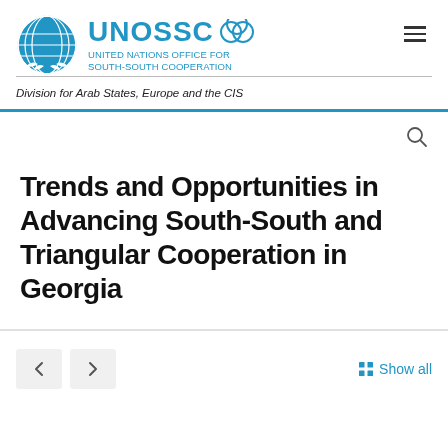[Figure (logo): UNOSSC logo: UN globe emblem and UNOSSC wordmark with three-circles graphic, subtitle 'UNITED NATIONS OFFICE FOR SOUTH-SOUTH COOPERATION']
Division for Arab States, Europe and the CIS
Trends and Opportunities in Advancing South-South and Triangular Cooperation in Georgia
Show all